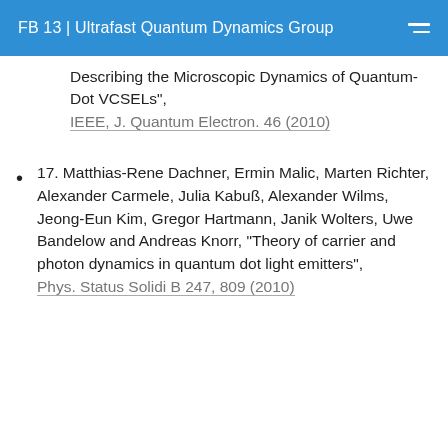FB 13 | Ultrafast Quantum Dynamics Group
Describing the Microscopic Dynamics of Quantum-Dot VCSELs", IEEE, J. Quantum Electron. 46 (2010)
17. Matthias-Rene Dachner, Ermin Malic, Marten Richter, Alexander Carmele, Julia Kabuß, Alexander Wilms, Jeong-Eun Kim, Gregor Hartmann, Janik Wolters, Uwe Bandelow and Andreas Knorr, "Theory of carrier and photon dynamics in quantum dot light emitters", Phys. Status Solidi B 247, 809 (2010)